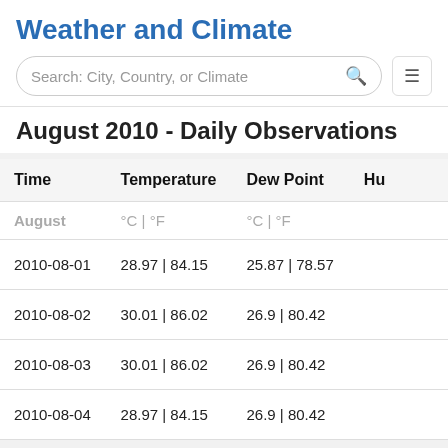Weather and Climate
August 2010 - Daily Observations
| Time | Temperature | Dew Point | Hum |
| --- | --- | --- | --- |
| August | °C | °F | °C | °F |  |
| 2010-08-01 | 28.97 | 84.15 | 25.87 | 78.57 |  |
| 2010-08-02 | 30.01 | 86.02 | 26.9 | 80.42 |  |
| 2010-08-03 | 30.01 | 86.02 | 26.9 | 80.42 |  |
| 2010-08-04 | 28.97 | 84.15 | 26.9 | 80.42 |  |